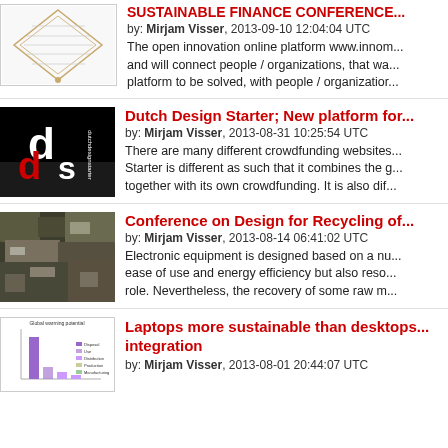[Figure (infographic): Diamond-shaped infographic thumbnail for open innovation platform article]
SUSTAINABLE FINANCE CONFERENCE...
by: Mirjam Visser, 2013-09-10 12:04:04 UTC
The open innovation online platform www.innom... and will connect people / organizations, that wa... platform to be solved, with people / organizatior...
[Figure (logo): Dutch Design Starter logo - white 'dds' letters on black background with red 'd' accent]
Dutch Design Starter; New platform for...
by: Mirjam Visser, 2013-08-31 10:25:54 UTC
There are many different crowdfunding websites... Starter is different as such that it combines the g... together with its own crowdfunding. It is also dif...
[Figure (photo): Photo of electronic waste / scrap metal components pile]
Conference on Design for Recycling of...
by: Mirjam Visser, 2013-08-14 06:41:02 UTC
Electronic equipment is designed based on a nu... ease of use and energy efficiency but also reso... role. Nevertheless, the recovery of some raw m...
[Figure (bar-chart): Small bar chart thumbnail showing global warming potential data]
Laptops more sustainable than desktops... integration
by: Mirjam Visser, 2013-08-01 20:44:07 UTC